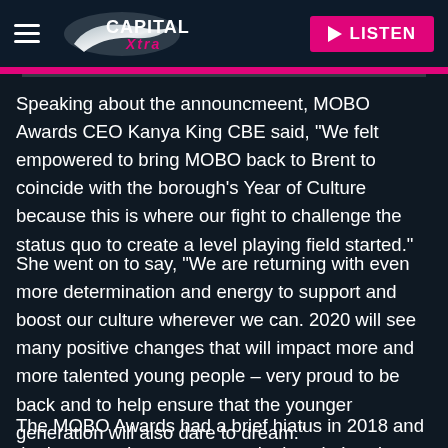[Figure (logo): Capital Xtra radio station logo with hamburger menu and LISTEN button in header]
Speaking about the announcmeent, MOBO Awards CEO Kanya King CBE said, “We felt empowered to bring MOBO back to Brent to coincide with the borough’s Year of Culture because this is where our fight to challenge the status quo to create a level playing field started.”
She went on to say, "We are returning with even more determination and energy to support and boost our culture wherever we can. 2020 will see many positive changes that will impact more and more talented young people – very proud to be back and to help ensure that the younger generation will also dare to dream."
The MOBO Awards had a brief hiatus in 2018 and the last awards ceremony took place in Leeds back in 2017.